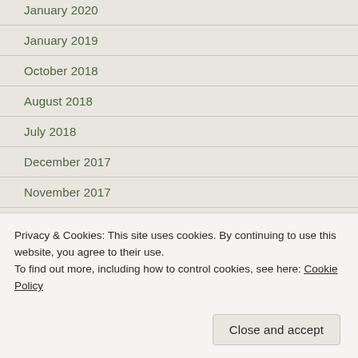January 2020
January 2019
October 2018
August 2018
July 2018
December 2017
November 2017
July 2017
March 2017
February 2017
Privacy & Cookies: This site uses cookies. By continuing to use this website, you agree to their use.
To find out more, including how to control cookies, see here: Cookie Policy
Close and accept